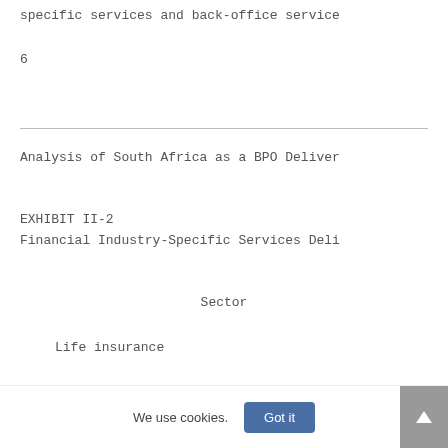specific services and back-office service
6
Analysis of South Africa as a BPO Deliver
EXHIBIT II-2
Financial Industry-Specific Services Deli
Sector
Life insurance